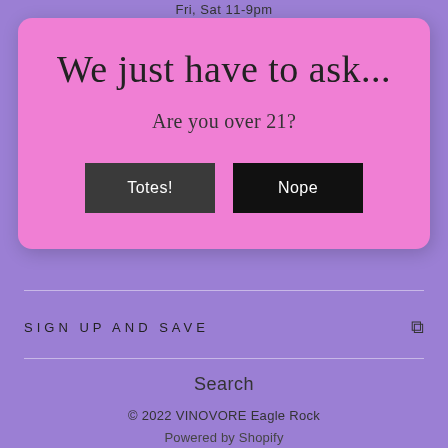Fri, Sat 11-9pm
We just have to ask...
Are you over 21?
Totes!
Nope
SIGN UP AND SAVE
Search
© 2022 VINOVORE Eagle Rock
Powered by Shopify